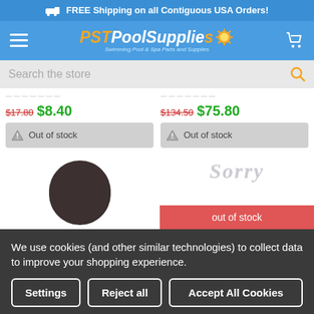FREE Shipping on all Contiguous USA Orders!
[Figure (screenshot): PST Pool Supplies navigation bar with hamburger menu, logo, and cart icon]
Search the store
$17.80 $8.40 Out of stock
$134.50 $75.80 Out of stock
[Figure (photo): Dark brown circular pool supply product image]
[Figure (photo): Sorry out of stock product placeholder image]
We use cookies (and other similar technologies) to collect data to improve your shopping experience.
Settings | Reject all | Accept All Cookies